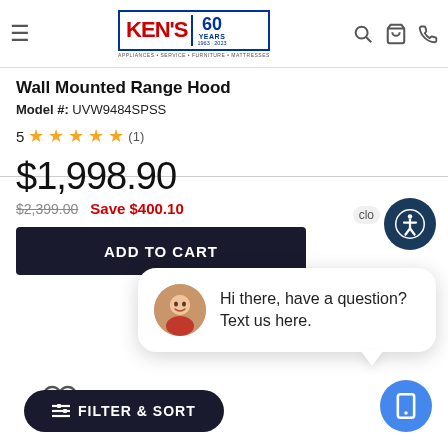Ken's Appliances - 60 Years (1963-2023) - APPLIANCES • SERVICE • FURNITURE • MATTRESSES
Wall Mounted Range Hood
Model #: UVW9484SPSS
5 ★★★★★ (1)
$1,998.90
$2,399.00  Save $400.10
[Figure (screenshot): Add to cart dark button (partially obscured)]
[Figure (infographic): Chat bubble popup: avatar of smiling woman, text: Hi there, have a question? Text us here.]
[Figure (infographic): Heart/wishlist icon]
FILTER & SORT
[Figure (infographic): Blue circular phone/chat button in bottom right]